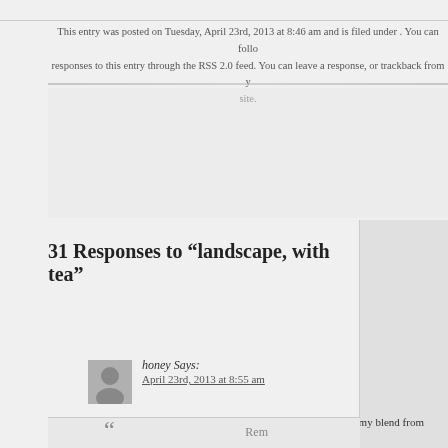This entry was posted on Tuesday, April 23rd, 2013 at 8:46 am and is filed under . You can follow responses to this entry through the RSS 2.0 feed. You can leave a response, or trackback from your own site.
31 Responses to “landscape, with tea”
honey Says:
April 23rd, 2013 at 8:55 am

i want to move away with major dickinson. he is my blend from peet’s, and his strength gets me through every morning!